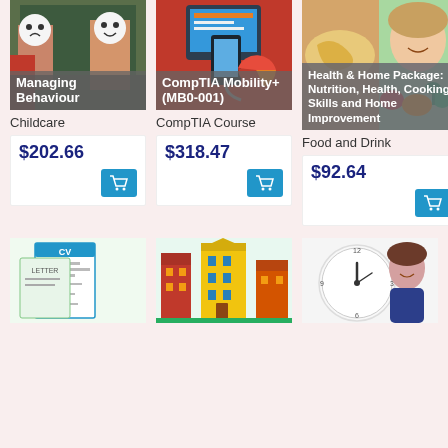[Figure (photo): Course card: Managing Behaviour - people holding face drawings in front of chalkboard]
Childcare
$202.66
[Figure (photo): Course card: CompTIA Mobility+ (MB0-001) - smartphone and tablet on red background]
CompTIA Course
$318.47
[Figure (photo): Course card: Health & Home Package: Nutrition, Health, Cooking Skills and Home Improvement - food and healthy eating]
Food and Drink
$92.64
[Figure (photo): Bottom left: CV and letter illustration]
[Figure (photo): Bottom middle: colorful buildings illustration]
[Figure (photo): Bottom right: woman with clock, time management]